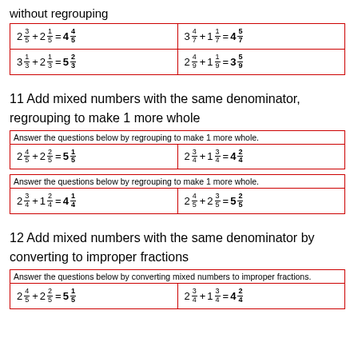without regrouping
| 2 3/5 + 2 1/5 = 4 4/5 | 3 4/7 + 1 1/7 = 4 5/7 |
| 3 1/3 + 2 1/3 = 5 2/3 | 2 4/9 + 1 1/9 = 3 5/9 |
11 Add mixed numbers with the same denominator, regrouping to make 1 more whole
| Answer the questions below by regrouping to make 1 more whole. |
| --- |
| 2 4/5 + 2 2/5 = 5 1/5 | 2 3/4 + 1 3/4 = 4 2/4 |
| Answer the questions below by regrouping to make 1 more whole. |
| --- |
| 2 3/4 + 1 2/4 = 4 1/4 | 2 4/5 + 2 3/5 = 5 2/5 |
12 Add mixed numbers with the same denominator by converting to improper fractions
| Answer the questions below by converting mixed numbers to improper fractions. |
| --- |
| 2 4/5 + 2 2/5 = 5 1/5 | 2 3/4 + 1 3/4 = 4 2/4 |